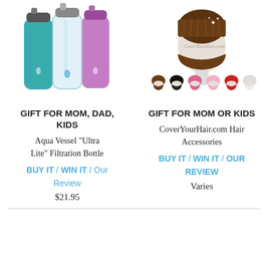[Figure (photo): Three Aqua Vessel water bottles in teal, clear, and pink/purple colors with filter straws]
[Figure (photo): CoverYourHair.com hair accessories including a brown knit beanie hat on mannequin head and six small colorful beanies/scarves in brown, black, pink, light pink, red, and white]
GIFT FOR MOM, DAD, KIDS
GIFT FOR MOM OR KIDS
Aqua Vessel “Ultra Lite” Filtration Bottle
CoverYourHair.com Hair Accessories
BUY IT / WIN IT / Our Review
BUY IT / WIN IT / OUR REVIEW
$21.95
Varies